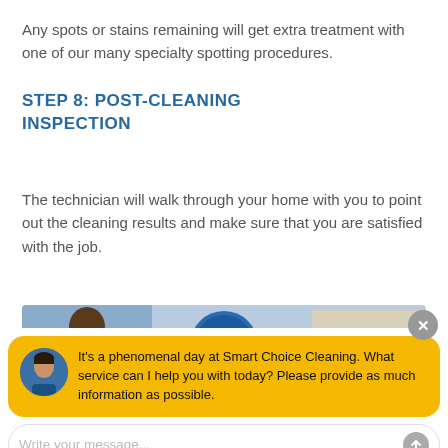Any spots or stains remaining will get extra treatment with one of our many specialty spotting procedures.
STEP 8: POST-CLEANING INSPECTION
The technician will walk through your home with you to point out the cleaning results and make sure that you are satisfied with the job.
[Figure (photo): Photo strip showing a cleaning technician and Smart Choice Cleaning branded badges and rainbow logo]
[Figure (screenshot): Chat widget overlay with avatar of a man, yellow bubble reading: It's a phenomenal day at Smart Choice Cleaning. What service can I help you with today? Please provide as much information as possible. Below is a text input field with placeholder 'Write your message...' and a send button.]